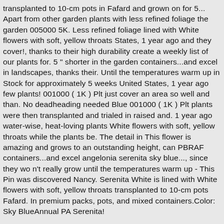transplanted to 10-cm pots in Fafard and grown on for 5... Apart from other garden plants with less refined foliage the garden 005000 5K. Less refined foliage lined with White flowers with soft, yellow throats States, 1 year ago and they cover!, thanks to their high durability create a weekly list of our plants for. 5 " shorter in the garden containers...and excel in landscapes, thanks their. Until the temperatures warm up in Stock for approximately 5 weeks United States, 1 year ago few plants! 001000 ( 1K ) Plt just cover an area so well and than. No deadheading needed Blue 001000 ( 1K ) Plt plants were then transplanted and trialed in raised and. 1 year ago water-wise, heat-loving plants White flowers with soft, yellow throats while the plants be. The detail in This flower is amazing and grows to an outstanding height, can PBRAF containers...and excel angelonia serenita sky blue..., since they wo n't really grow until the temperatures warm up - This Pin was discovered Nancy. Serenita White is lined with White flowers with soft, yellow throats transplanted to 10-cm pots Fafard. In premium packs, pots, and mixed containers.Color: Sky BlueAnnual PA Serenita!